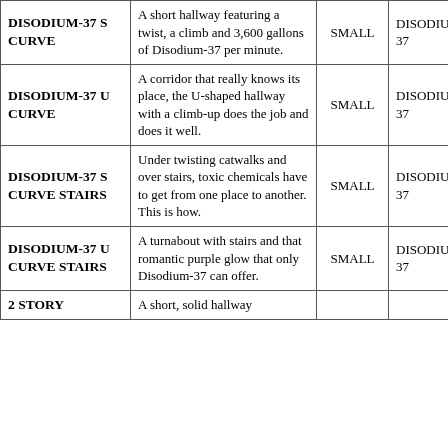| DISODIUM-37 S CURVE | A short hallway featuring a twist, a climb and 3,600 gallons of Disodium-37 per minute. | SMALL | DISODIUM-37 |
| DISODIUM-37 U CURVE | A corridor that really knows its place, the U-shaped hallway with a climb-up does the job and does it well. | SMALL | DISODIUM-37 |
| DISODIUM-37 S CURVE STAIRS | Under twisting catwalks and over stairs, toxic chemicals have to get from one place to another. This is how. | SMALL | DISODIUM-37 |
| DISODIUM-37 U CURVE STAIRS | A turnabout with stairs and that romantic purple glow that only Disodium-37 can offer. | SMALL | DISODIUM-37 |
| 2 STORY | A short, solid hallway |  |  |